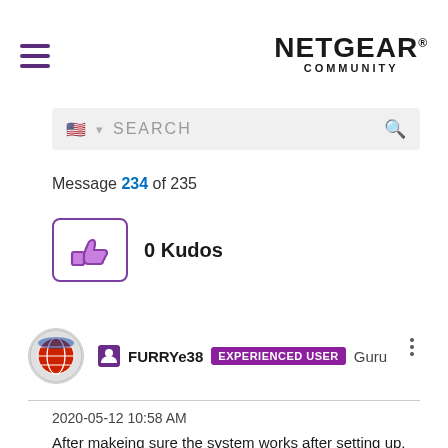NETGEAR COMMUNITY
SEARCH
Message 234 of 235
[Figure (other): 0 Kudos thumbs-up button with purple border]
[Figure (other): User avatar globe icon and username FURRYe38 EXPERIENCED USER Guru]
2020-05-12 10:58 AM
After makeing sure the system works after setting up,